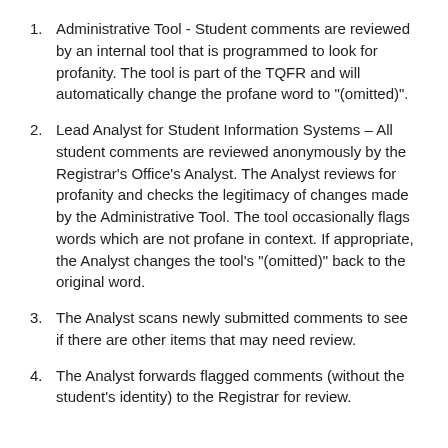Administrative Tool - Student comments are reviewed by an internal tool that is programmed to look for profanity. The tool is part of the TQFR and will automatically change the profane word to "(omitted)".
Lead Analyst for Student Information Systems – All student comments are reviewed anonymously by the Registrar's Office's Analyst. The Analyst reviews for profanity and checks the legitimacy of changes made by the Administrative Tool. The tool occasionally flags words which are not profane in context. If appropriate, the Analyst changes the tool's "(omitted)" back to the original word.
The Analyst scans newly submitted comments to see if there are other items that may need review.
The Analyst forwards flagged comments (without the student's identity) to the Registrar for review.